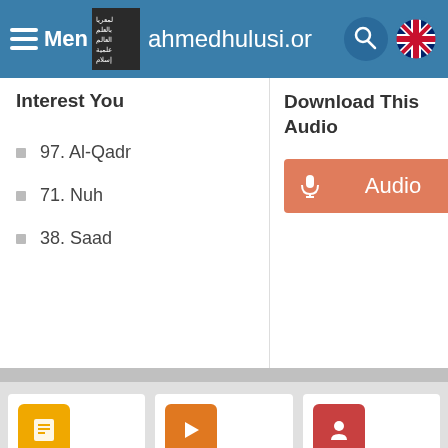Menu — ahmedhulusi.org
Interest You
97. Al-Qadr
71. Nuh
38. Saad
Download This Audio
Audio (download button)
Selected Articles — To Avoi...
Selected Videos — R...
Selected Recordings — The Spi...